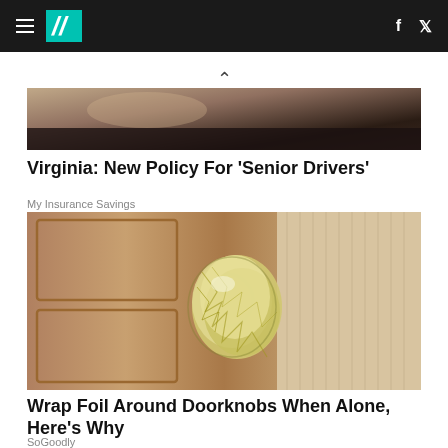HuffPost navigation bar with hamburger menu, logo, Facebook and Twitter icons
[Figure (photo): Partial photo of a car scene, dark and blurred background]
Virginia: New Policy For 'Senior Drivers'
My Insurance Savings
[Figure (photo): Photo of a door knob wrapped in aluminum foil on a wooden door]
Wrap Foil Around Doorknobs When Alone, Here's Why
SoGoodly